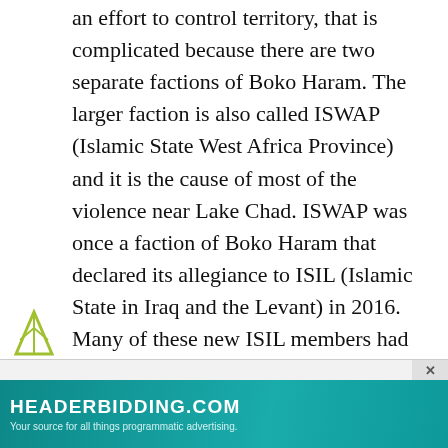an effort to control territory, that is complicated because there are two separate factions of Boko Haram. The larger faction is also called ISWAP (Islamic State West Africa Province) and it is the cause of most of the violence near Lake Chad. ISWAP was once a faction of Boko Haram that declared its allegiance to ISIL (Islamic State in Iraq and the Levant) in 2016. Many of these new ISIL members had been with Boko Haram since 2004. ISWAP personnel are mainly in northeastern Nigeria with smaller numbers in Chad, Niger and northern Cameroon. What remains of the original Boko Haram is about half the size of ISWAP and operates in northern Borno state areas that are not near Lake Chad. The two factions have fought each other in the past, but in the last two years appear to have established some form of ceasefire and an effor...
[Figure (other): Advertisement banner: HEADERBIDDING.COM - Your source for all things programmatic advertising. Teal/dark cyan background with white text. Close button overlay. Small triangular logo icon at left. Teal box with line chart icon in upper right corner.]